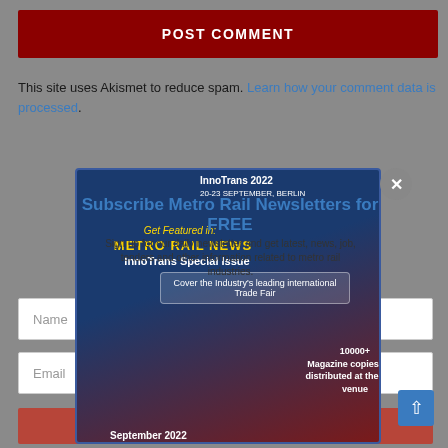POST COMMENT
This site uses Akismet to reduce spam. Learn how your comment data is processed.
[Figure (screenshot): Modal popup overlay showing InnoTrans 2022 Metro Rail News special issue advertisement with 'Get Featured in METRO RAIL NEWS' text, InnoTrans Special Issue title, cover box text 'Cover the Industry's leading international Trade Fair', 10000+ Magazine copies to be distributed at the event venue, September 2022, and a close (×) button]
Subscribe Metro Rail Newsletters for FREE
Sign up for our daily newsletter and get latest, news, job, tenders and other information related to metro rail industries.
Name
Email
SUBSCRIBE NOW!